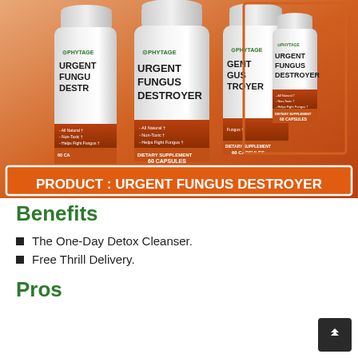[Figure (photo): Product photo showing four white supplement bottles labeled 'URGENT FUNGUS DESTROYER' by Phytage Labs against an orange gradient background. Three large bottles are shown on the left and one smaller bottle is highlighted in a rectangle on the right. Below the bottles is an orange banner reading 'PRODUCT : URGENT FUNGUS DESTROYER'.]
Benefits
The One-Day Detox Cleanser.
Free Thrill Delivery.
Pros